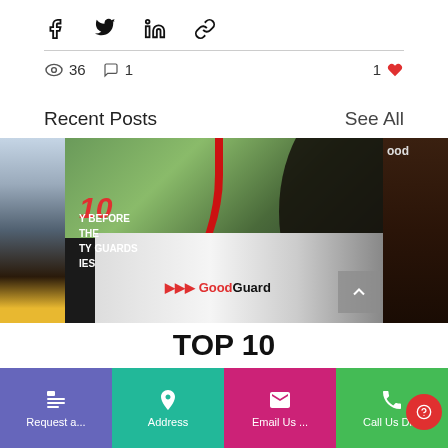[Figure (screenshot): Social share icons row: Facebook, Twitter, LinkedIn, Link]
36  1    1 ♥
Recent Posts
See All
[Figure (photo): Three blog post thumbnails: partial left thumbnail showing a man in suit, center thumbnail showing GoodGuard security car with two guards and '10 ... Y BEFORE THE TY GUARDS IES' text overlay, partial right thumbnail showing 'ood' branding. Navigation arrow visible bottom right of center image.]
TOP 10
[Figure (screenshot): Bottom navigation bar with four buttons: Request a... (purple), Address (teal), Email Us ... (pink), Call Us Di... (green). Red floating help circle button at bottom right.]